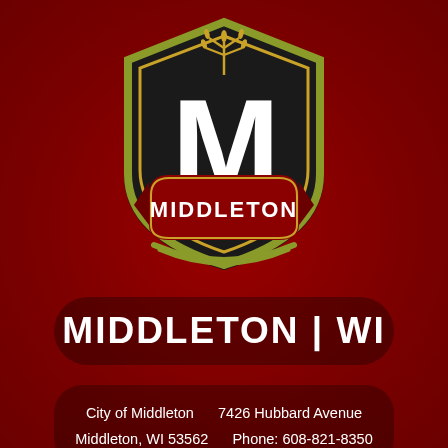[Figure (logo): City of Middleton Wisconsin shield logo with large white M, wheat sheaf, olive/green border, dark background, and red banner reading MIDDLETON]
MIDDLETON | WI
City of Middleton     7426 Hubbard Avenue
Middleton, WI 53562     Phone: 608-821-8350